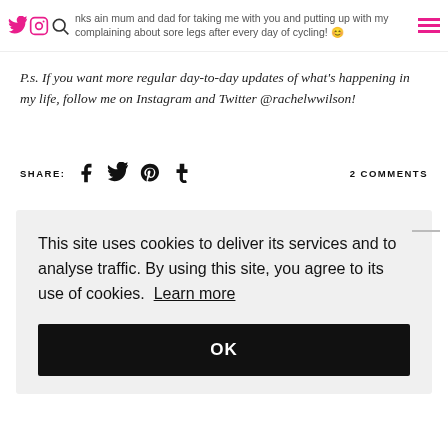nks ain mum and dad for taking me with you and putting up with my complaining about sore legs after every day of cycling! 😊
P.s. If you want more regular day-to-day updates of what's happening in my life, follow me on Instagram and Twitter @rachelwwilson!
SHARE: [social icons] 2 COMMENTS
This site uses cookies to deliver its services and to analyse traffic. By using this site, you agree to its use of cookies. Learn more
OK